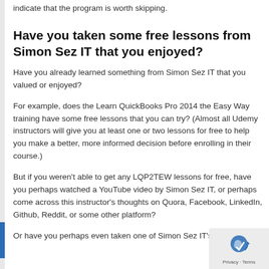indicate that the program is worth skipping.
Have you taken some free lessons from Simon Sez IT that you enjoyed?
Have you already learned something from Simon Sez IT that you valued or enjoyed?
For example, does the Learn QuickBooks Pro 2014 the Easy Way training have some free lessons that you can try? (Almost all Udemy instructors will give you at least one or two lessons for free to help you make a better, more informed decision before enrolling in their course.)
But if you weren't able to get any LQP2TEW lessons for free, have you perhaps watched a YouTube video by Simon Sez IT, or perhaps come across this instructor's thoughts on Quora, Facebook, LinkedIn, Github, Reddit, or some other platform?
Or have you perhaps even taken one of Simon Sez IT's